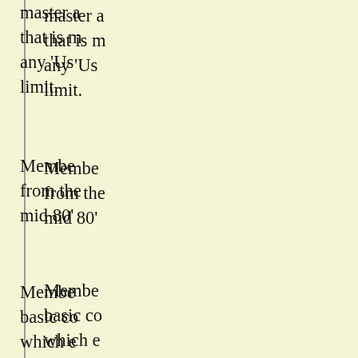master a that is m any 'Us limit.
Membe from the mid 80'
Membe basic co which e
Lea pac
Cor E-m and